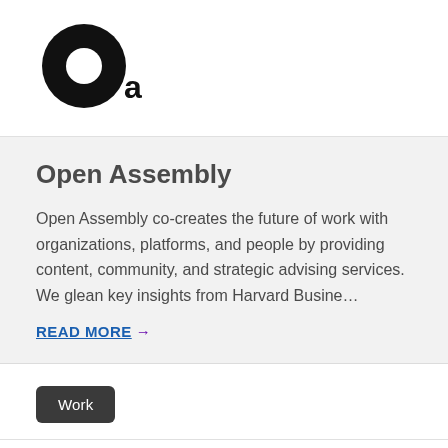[Figure (logo): Open Assembly logo — large black O with circular cutout, and a small black 'a' to its lower right]
Open Assembly
Open Assembly co-creates the future of work with organizations, platforms, and people by providing content, community, and strategic advising services. We glean key insights from Harvard Busine…
READ MORE →
Work
[Figure (other): Green arrow pointing upper-right, partially visible at the bottom of the page]